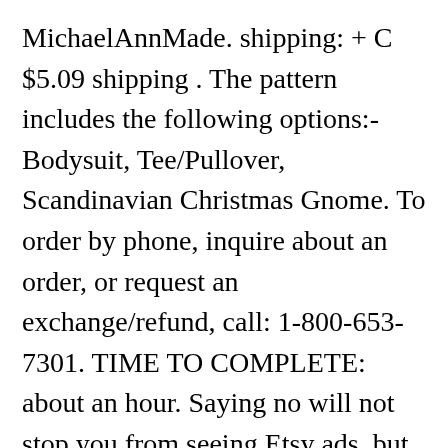MichaelAnnMade. shipping: + C $5.09 shipping . The pattern includes the following options:- Bodysuit, Tee/Pullover, Scandinavian Christmas Gnome. To order by phone, inquire about an order, or request an exchange/refund, call: 1-800-653-7301. TIME TO COMPLETE: about an hour. Saying no will not stop you from seeing Etsy ads, but it may make them less relevant or more repetitive. There are 4341 goose patterns for sale on Etsy, and they cost $18.99 on average. Natalia Borodina. Simplicity Stuffed Doll with Clothes Art and Craft Sewing Template, One Size Only 4.4 out of 5 stars 178. Using a DRY BRUSH- no water involved, dry brush on the beak, and